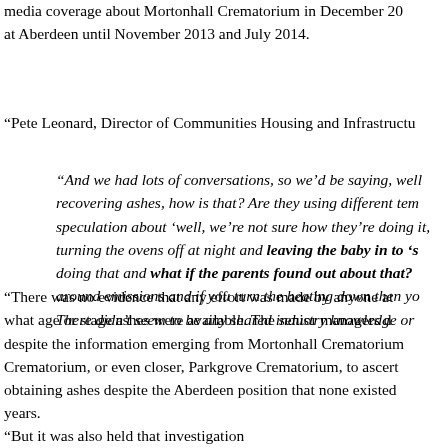media coverage about Mortonhall Crematorium in December 20[12] at Aberdeen until November 2013 and July 2014.
“Pete Leonard, Director of Communities Housing and Infrastructu[re…]
“And we had lots of conversations, so we’d be saying, well[,] recovering ashes, how is that? Are they using different tem[peratures,] speculation about ‘well, we’re not sure how they’re doing it[,’] turning the ovens off at night and leaving the baby in to ‘s[mmer’] doing that and what if the parents found out about that?[…] around emissions and if you turn the heating down then yo[u…] There didn’t seem to be any shared industry knowledge or[…]
“There was no evidence that any effort was made by anyone at[…] what age or stage ashes were available. The senior managers d[id…] despite the information emerging from Mortonhall Crematorium[…] Crematorium, or even closer, Parkgrove Crematorium, to ascert[ain] obtaining ashes despite the Aberdeen position that none existed[…] years.
“But it was also held that investigation[…]